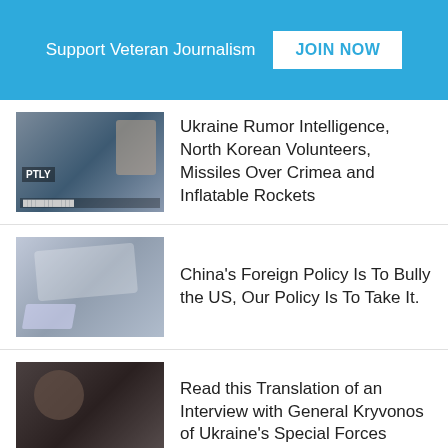Support Veteran Journalism | JOIN NOW
Ukraine Rumor Intelligence, North Korean Volunteers, Missiles Over Crimea and Inflatable Rockets
China's Foreign Policy Is To Bully the US, Our Policy Is To Take It.
Read this Translation of an Interview with General Kryvonos of Ukraine's Special Forces
[Figure (advertisement): Macy's lipstick advertisement: KISS BORING LIPS GOODBYE — SHOP NOW — macys with star logo, model with red lips on dark red background]